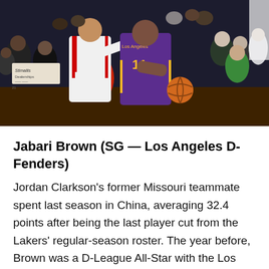[Figure (photo): Basketball game action photo showing a Los Angeles D-Fenders player in purple and gold jersey number 11 dribbling the ball while being defended by an opponent in white uniform with red stripes. Crowd visible in background.]
Jabari Brown (SG — Los Angeles D-Fenders)
Jordan Clarkson's former Missouri teammate spent last season in China, averaging 32.4 points after being the last player cut from the Lakers' regular-season roster. The year before, Brown was a D-League All-Star with the Los Angeles D-Fenders before being called up to the Lakers for the final stretch of the